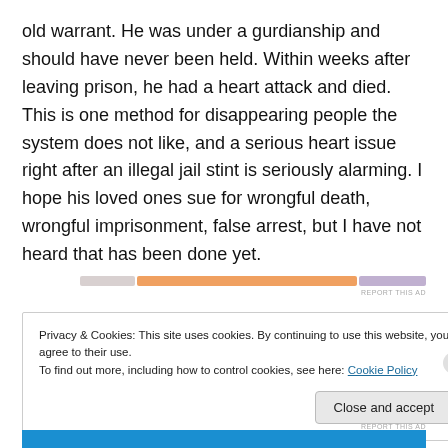old warrant. He was under a gurdianship and should have never been held. Within weeks after leaving prison, he had a heart attack and died. This is one method for disappearing people the system does not like, and a serious heart issue right after an illegal jail stint is seriously alarming. I hope his loved ones sue for wrongful death, wrongful imprisonment, false arrest, but I have not heard that has been done yet.
[Figure (other): Advertisement bar with gradient colors (gray, orange, purple) and 'REPORT THIS AD' label]
Privacy & Cookies: This site uses cookies. By continuing to use this website, you agree to their use.
To find out more, including how to control cookies, see here: Cookie Policy
Close and accept